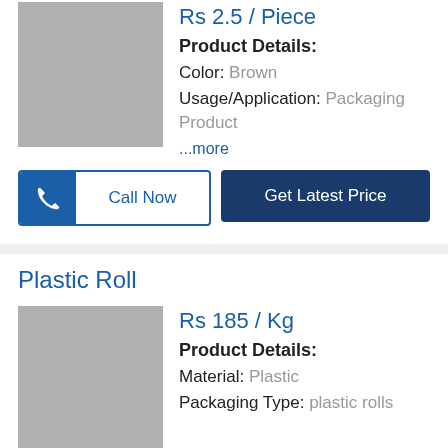Rs 2.5 / Piece
Product Details:
Color: Brown
Usage/Application: Packaging Product
...more
Call Now
Get Latest Price
Plastic Roll
Rs 185 / Kg
Product Details:
Material: Plastic
Packaging Type: plastic rolls